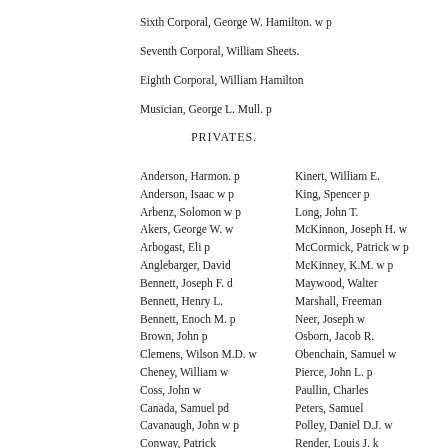Sixth Corporal, George W. Hamilton. w p
Seventh Corporal, William Sheets.
Eighth Corporal, William Hamilton
Musician, George L. Mull. p
PRIVATES.
Anderson, Harmon. p
Anderson, Isaac w p
Arbenz, Solomon w p
Akers, George W. w
Arbogast, Eli p
Anglebarger, David
Bennett, Joseph F. d
Bennett, Henry L.
Bennett, Enoch M. p
Brown, John p
Clemens, Wilson M.D. w
Cheney, William w
Coss, John w
Canada, Samuel pd
Cavanaugh, John w p
Conway, Patrick
Chancellor, James M. w p
Cory, Josephus N. p
Clark, Joseph P.
Curl, John
Cyster, John G.
Day, William
Dwyer, Michael k
Daily, Harrison H.
Deffendan, Thomas w p
Edwards, Robert H.
Griffith, James W. w pd
Griffith, John T. [partial]
Kinert, William E.
King, Spencer p
Long, John T.
McKinnon, Joseph H. w
McCormick, Patrick w p
McKinney, K.M. w p
Maywood, Walter
Marshall, Freeman
Neer, Joseph w
Osborn, Jacob R.
Obenchain, Samuel w
Pierce, John L. p
Paullin, Charles
Peters, Samuel
Polley, Daniel D.J. w
Render, Louis J. k
Ross, David
Sweet, Bynner B.
Schickedantz, Joseph
Stewart, William
Sheets, James H. p
Scheetz, Francis w p
Smith, Thomas k
Smith, Benjamin w
Scott, Leonard p
Scorse, Alcetus J. p
Truitt, George P. k
Thorp, William P. [partial]